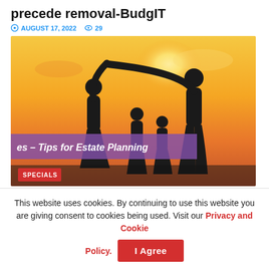precede removal-BudgIT
AUGUST 17, 2022  29
[Figure (photo): Silhouette of a family (two adults and two children) against a warm sunset sky. Two adults form an arch with their raised and joined hands. A purple semi-transparent banner overlays the lower portion reading 'es – Tips for Estate Planning'. A red 'SPECIALS' badge is in the bottom left.]
Estate Planning Will Give You And Your ...
This website uses cookies. By continuing to use this website you are giving consent to cookies being used. Visit our Privacy and Cookie Policy.
I Agree